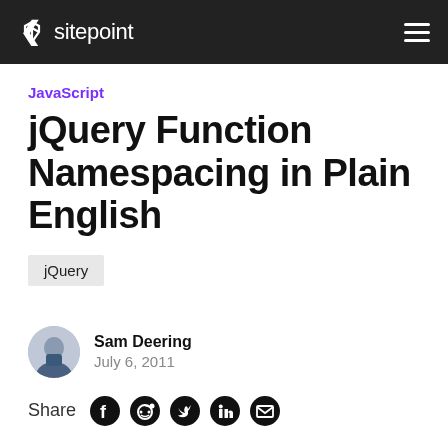sitepoint
JavaScript
jQuery Function Namespacing in Plain English
jQuery
Sam Deering
July 6, 2011
Share